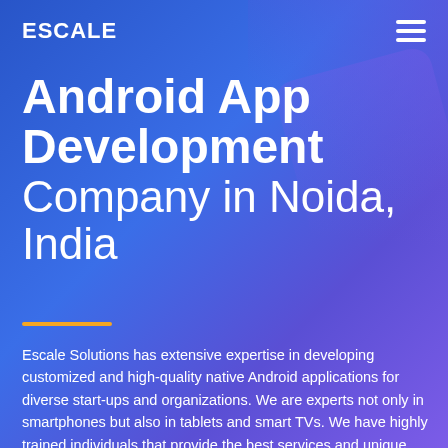ESCALE
Android App Development Company in Noida, India
Escale Solutions has extensive expertise in developing customized and high-quality native Android applications for diverse start-ups and organizations. We are experts not only in smartphones but also in tablets and smart TVs. We have highly trained individuals that provide the best services and unique solutions. We tailor projects to create high-quality, technology-driven solutions.